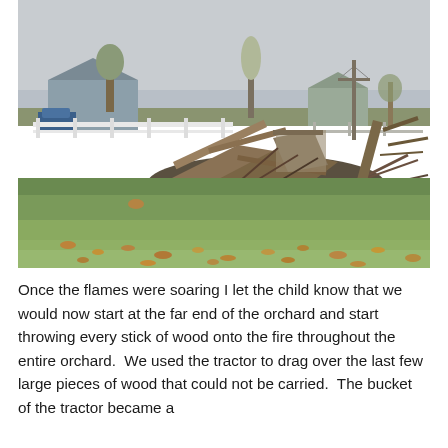[Figure (photo): Outdoor farm scene on a cloudy day. A green grassy field in the foreground with fallen autumn leaves scattered on the ground. In the middle ground, a large pile of brush, tree branches, and old wooden debris (possibly a demolished structure). Behind the pile are bare and leafless trees, a white wooden fence, a house with a blue vehicle, a utility pole with wires, and more trees in the background under a pale grey overcast sky.]
Once the flames were soaring I let the child know that we would now start at the far end of the orchard and start throwing every stick of wood onto the fire throughout the entire orchard.  We used the tractor to drag over the last few large pieces of wood that could not be carried.  The bucket of the tractor became a